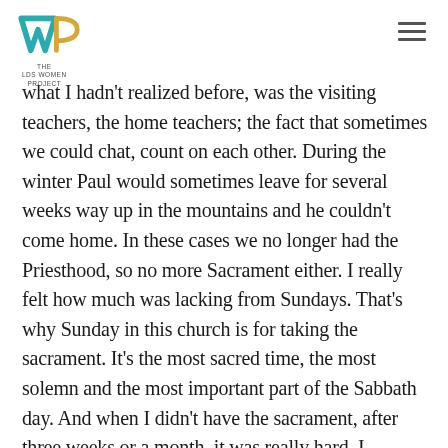THE LDS WOMEN PROJECT
what I hadn't realized before, was the visiting teachers, the home teachers; the fact that sometimes we could chat, count on each other. During the winter Paul would sometimes leave for several weeks way up in the mountains and he couldn't come home. In these cases we no longer had the Priesthood, so no more Sacrament either. I really felt how much was lacking from Sundays. That's why Sunday in this church is for taking the sacrament. It's the most sacred time, the most solemn and the most important part of the Sabbath day. And when I didn't have the sacrament, after three weeks or a month, it was really hard. I